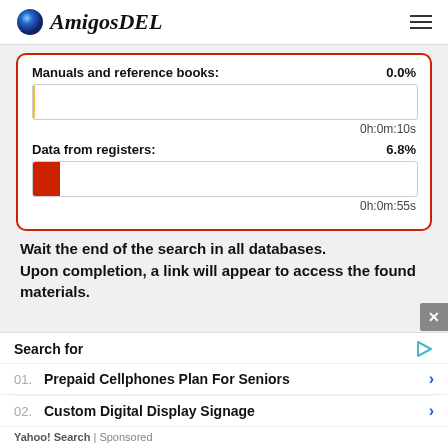AmigosDEL
[Figure (infographic): Progress bars showing search status. 'Manuals and reference books: 0.0%' with nearly empty yellow-bordered bar and time 0h:0m:10s. 'Data from registers: 6.8%' with small red-filled bar and time 0h:0m:55s.]
Wait the end of the search in all databases. Upon completion, a link will appear to access the found materials.
[Figure (infographic): Advertisement overlay: Search for - 01. Prepaid Cellphones Plan For Seniors > - 02. Custom Digital Display Signage > - Yahoo! Search | Sponsored]